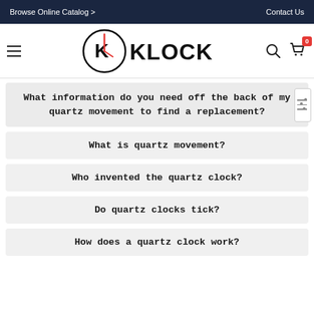Browse Online Catalog >    Contact Us
[Figure (logo): Klockit logo with hamburger menu, search icon, and shopping cart with badge showing 0]
What information do you need off the back of my quartz movement to find a replacement?
What is quartz movement?
Who invented the quartz clock?
Do quartz clocks tick?
How does a quartz clock work?